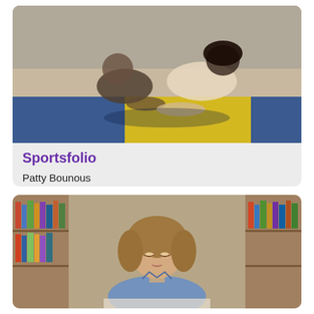[Figure (photo): Children playing or wrestling on a colorful gym mat, viewed from above. Blue, yellow, and red mats visible. Two children appear to be on hands and knees on the mat.]
Sportsfolio
Patty Bounous
Monett R-I School
Health/Physical Education, Technology
[Figure (photo): A woman with shoulder-length brown hair, wearing a blue shirt, sitting in a library surrounded by bookshelves filled with colorful books. She appears to be reading or looking down at something.]